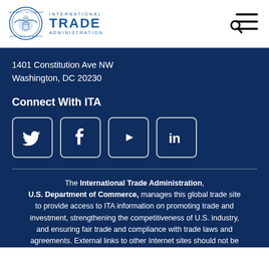[Figure (logo): International Trade Administration logo with Department of Commerce seal and ITA wordmark]
[Figure (other): Search and hamburger menu icon]
1401 Constitution Ave NW
Washington, DC 20230
Connect With ITA
[Figure (other): Social media icons: Twitter, Facebook, YouTube, LinkedIn]
The International Trade Administration, U.S. Department of Commerce, manages this global trade site to provide access to ITA information on promoting trade and investment, strengthening the competitiveness of U.S. industry, and ensuring fair trade and compliance with trade laws and agreements. External links to other Internet sites should not be